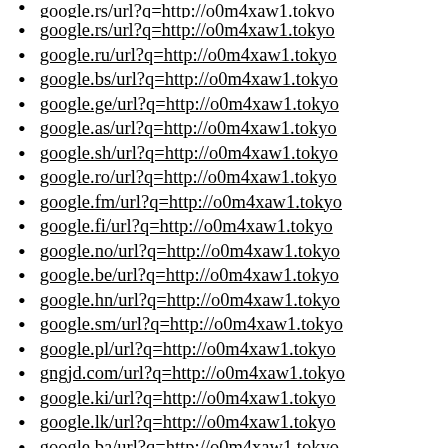google.rs/url?q=http://o0m4xaw1.tokyo
google.ru/url?q=http://o0m4xaw1.tokyo
google.bs/url?q=http://o0m4xaw1.tokyo
google.ge/url?q=http://o0m4xaw1.tokyo
google.as/url?q=http://o0m4xaw1.tokyo
google.sh/url?q=http://o0m4xaw1.tokyo
google.ro/url?q=http://o0m4xaw1.tokyo
google.fm/url?q=http://o0m4xaw1.tokyo
google.fi/url?q=http://o0m4xaw1.tokyo
google.no/url?q=http://o0m4xaw1.tokyo
google.be/url?q=http://o0m4xaw1.tokyo
google.hn/url?q=http://o0m4xaw1.tokyo
google.sm/url?q=http://o0m4xaw1.tokyo
google.pl/url?q=http://o0m4xaw1.tokyo
gngjd.com/url?q=http://o0m4xaw1.tokyo
google.ki/url?q=http://o0m4xaw1.tokyo
google.lk/url?q=http://o0m4xaw1.tokyo
google.ba/url?q=http://o0m4xaw1.tokyo